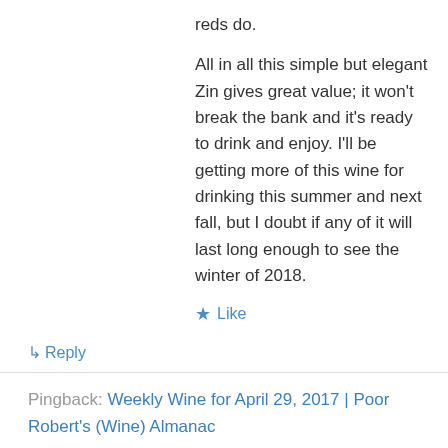reds do.
All in all this simple but elegant Zin gives great value; it won't break the bank and it's ready to drink and enjoy. I'll be getting more of this wine for drinking this summer and next fall, but I doubt if any of it will last long enough to see the winter of 2018.
★ Like
↳ Reply
Pingback: Weekly Wine for April 29, 2017 | Poor Robert's (Wine) Almanac
Poor Robert on April 29, 2017 at 5:04 pm